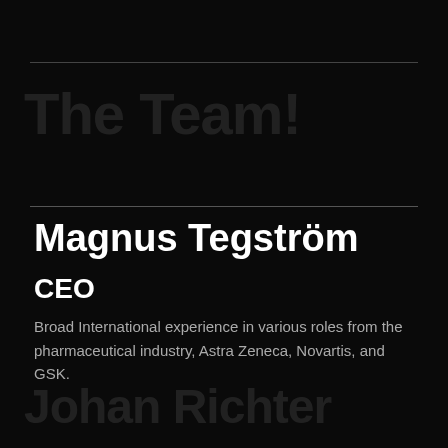The Team!
Magnus Tegström
CEO
Broad International experience in various roles from the pharmaceutical industry, Astra Zeneca, Novartis, and GSK.
Johan Richter